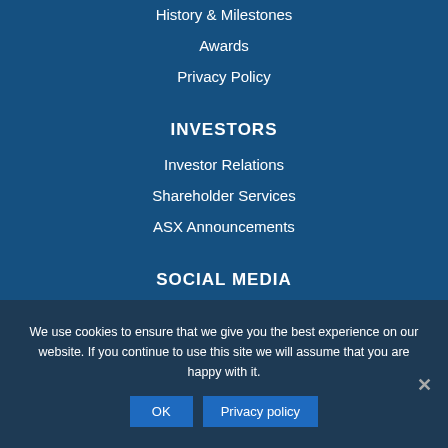History & Milestones
Awards
Privacy Policy
INVESTORS
Investor Relations
Shareholder Services
ASX Announcements
SOCIAL MEDIA
We use cookies to ensure that we give you the best experience on our website. If you continue to use this site we will assume that you are happy with it.
OK   Privacy policy